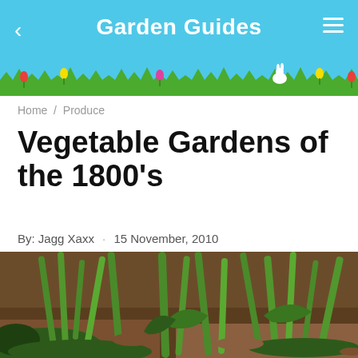Garden Guides
Home / Produce
Vegetable Gardens of the 1800's
By: Jagg Xaxx · 15 November, 2010
[Figure (photo): Close-up photograph of vegetable garden plants with green stems and leaves growing from soil]